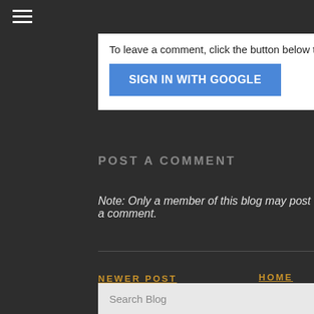[Figure (other): Hamburger menu icon (three horizontal white lines) in top-left corner on dark background]
To leave a comment, click the button below to sign in with Google.
[Figure (other): Blue 'SIGN IN WITH GOOGLE' button]
POST A COMMENT
Note: Only a member of this blog may post a comment.
NEWER POST
HOME
SUBSCRIBE TO: POST COMMENTS (ATOM)
Search Blog